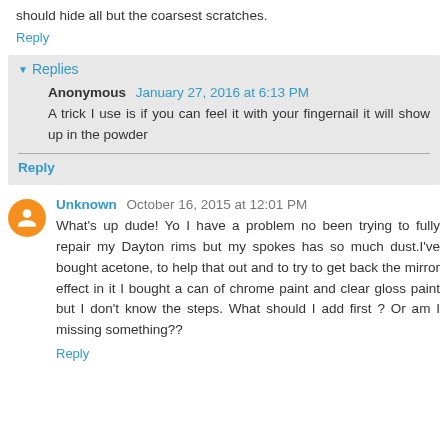should hide all but the coarsest scratches.
Reply
Replies
Anonymous January 27, 2016 at 6:13 PM
A trick I use is if you can feel it with your fingernail it will show up in the powder
Reply
Unknown October 16, 2015 at 12:01 PM
What's up dude! Yo I have a problem no been trying to fully repair my Dayton rims but my spokes has so much dust.I've bought acetone, to help that out and to try to get back the mirror effect in it I bought a can of chrome paint and clear gloss paint but I don't know the steps. What should I add first ? Or am I missing something??
Reply